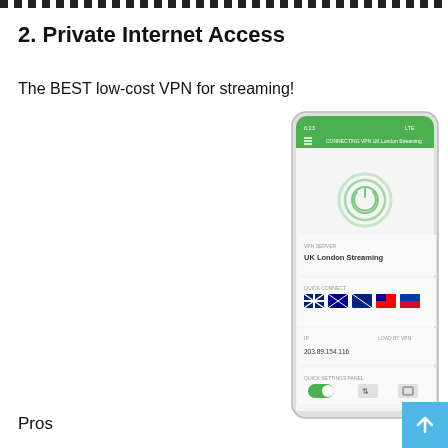2. Private Internet Access
The BEST low-cost VPN for streaming!
[Figure (screenshot): Screenshot of Private Internet Access VPN mobile app showing a green header bar, power button icon, UK London Streaming server location, country flag quick-connect options, IP address display, and bottom navigation bar]
Pros